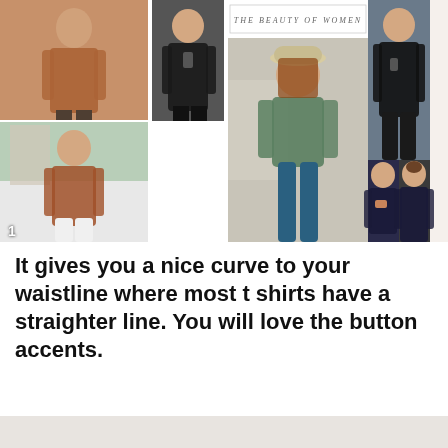[Figure (photo): Fashion style collage showing multiple women wearing casual long sleeve tops and t-shirts. Top row: woman in brown/rust long sleeve top, woman in black long sleeve top. Center: large photo of woman in green/teal button-accent top with hat and teal leggings. Right column: woman in black v-neck with leather pants, and two women showing front/back of navy tops. Labelled 'THE BEAUTY OF WOMEN' and 'FASHION STYLE'. Bottom left shows woman in rust top with white pants.]
It gives you a nice curve to your waistline where most t shirts have a straighter line. You will love the button accents.